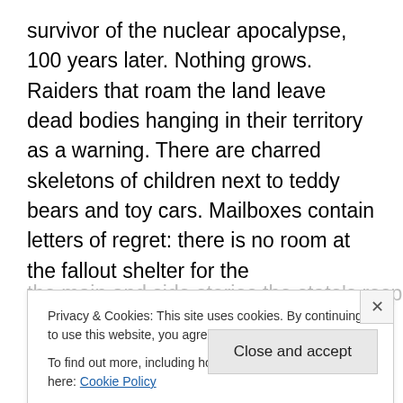survivor of the nuclear apocalypse, 100 years later. Nothing grows. Raiders that roam the land leave dead bodies hanging in their territory as a warning. There are charred skeletons of children next to teddy bears and toy cars. Mailboxes contain letters of regret: there is no room at the fallout shelter for the homeowners, their bodies can be found inside holding each other. There are prostitutes, not the funny stereotyped BBWs of GTA4, but women who sell the only thing they have ownership of for a night of security. This is just the world, the trend continues as
the main and side stories the state's responsibilities to the
Privacy & Cookies: This site uses cookies. By continuing to use this website, you agree to their use.
To find out more, including how to control cookies, see here: Cookie Policy